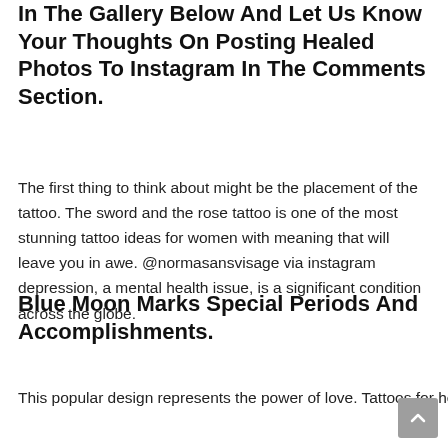In The Gallery Below And Let Us Know Your Thoughts On Posting Healed Photos To Instagram In The Comments Section.
The first thing to think about might be the placement of the tattoo. The sword and the rose tattoo is one of the most stunning tattoo ideas for women with meaning that will leave you in awe. @normasansvisage via instagram depression, a mental health issue, is a significant condition across the globe.
Blue Moon Marks Special Periods And Accomplishments.
This popular design represents the power of love. Tattoos for healing / growth 🌱🌿 #tattoo #tattooartist #tattoodesign